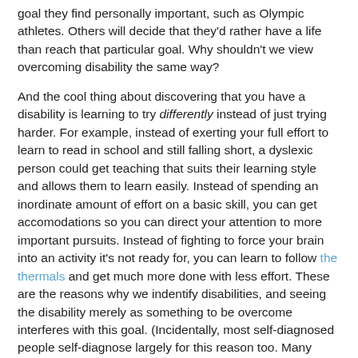goal they find personally important, such as Olympic athletes. Others will decide that they'd rather have a life than reach that particular goal. Why shouldn't we view overcoming disability the same way?
And the cool thing about discovering that you have a disability is learning to try differently instead of just trying harder. For example, instead of exerting your full effort to learn to read in school and still falling short, a dyslexic person could get teaching that suits their learning style and allows them to learn easily. Instead of spending an inordinate amount of effort on a basic skill, you can get accomodations so you can direct your attention to more important pursuits. Instead of fighting to force your brain into an activity it's not ready for, you can learn to follow the thermals and get much more done with less effort. These are the reasons why we indentify disabilities, and seeing the disability merely as something to be overcome interferes with this goal. (Incidentally, most self-diagnosed people self-diagnose largely for this reason too. Many disability coping strategies can be implemented even if you don't have an official diagnosis.)